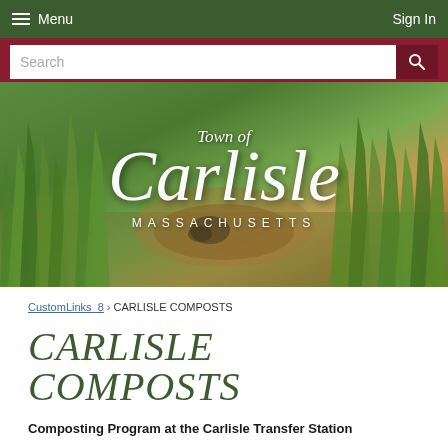Menu    Sign In
[Figure (screenshot): Search bar with dark red background, white input field labeled 'Search' and a search icon button on the right]
[Figure (photo): Town of Carlisle Massachusetts hero banner image with white serif text overlaid on a green grass and nature background photo. Text reads: Town of Carlisle MASSACHUSETTS]
CustomLinks_8 › CARLISLE COMPOSTS
CARLISLE COMPOSTS
Composting Program at the Carlisle Transfer Station